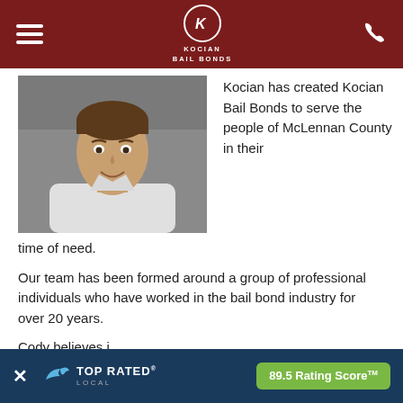KOCIAN BAIL BONDS
[Figure (photo): Professional headshot of a smiling young man with short hair, wearing a light-colored shirt, against a gray background.]
Kocian has created Kocian Bail Bonds to serve the people of McLennan County in their time of need.
Our team has been formed around a group of professional individuals who have worked in the bail bond industry for over 20 years.
Cody believes in courteous servi... day, 7 days a w...
[Figure (infographic): Top Rated Local banner overlay showing: X close button, Top Rated Local logo with bird icon, 89.5 Rating Score™ badge in green.]